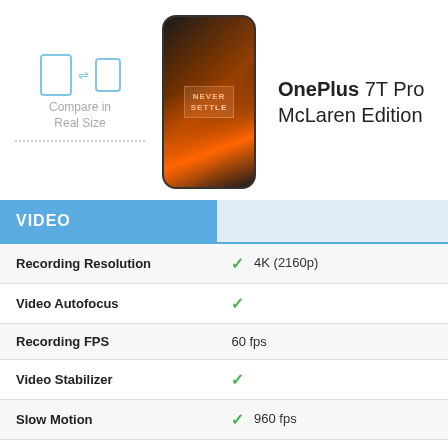[Figure (illustration): Two phone icons with arrows indicating comparison, labeled 'Compare in Real Size', with a dotted line below]
[Figure (photo): OnePlus 7T Pro McLaren Edition smartphone with dark red/orange flame design on screen and 'NEVER SETTLE' text]
OnePlus 7T Pro McLaren Edition
| VIDEO |  |
| --- | --- |
| Recording Resolution | ✓ 4K (2160p) |
| Video Autofocus | ✓ |
| Recording FPS | 60 fps |
| Video Stabilizer | ✓ |
| Slow Motion | ✓ 960 fps |
| Video HDR | - |